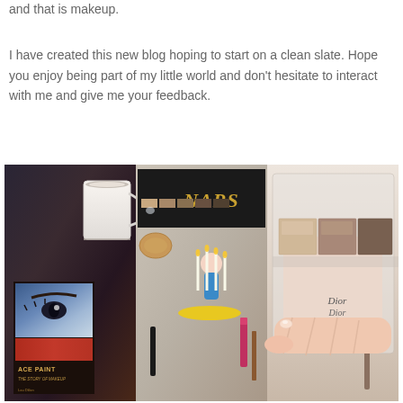and that is makeup.
I have created this new blog hoping to start on a clean slate. Hope you enjoy being part of my little world and don't hesitate to interact with me and give me your feedback.
[Figure (photo): A collage of three makeup-related photos: left panel shows a 'Face Paint' book and a white cup with beauty products; center panel shows various makeup items including a NARS eyeshadow palette, a Barbie figurine, and a pink blush compact; right panel shows a hand holding a Dior eyeshadow palette with neutral tones.]